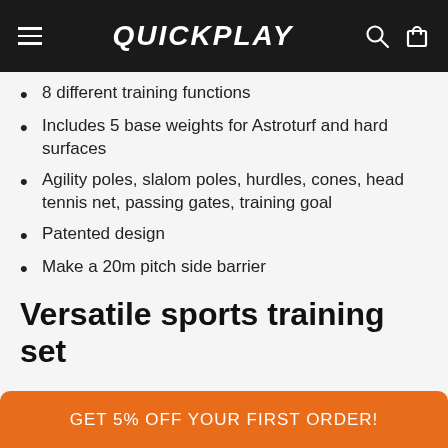QUICKPLAY
8 different training functions
Includes 5 base weights for Astroturf and hard surfaces
Agility poles, slalom poles, hurdles, cones, head tennis net, passing gates, training goal
Patented design
Make a 20m pitch side barrier
Quality carry bag
Patented design
Versatile sports training set
GET 5% OFF YOUR FIRST ORDER!